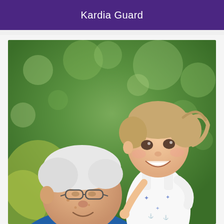Kardia Guard
[Figure (photo): An elderly man with white hair and glasses looking up warmly at a smiling young toddler girl with light brown hair, wearing a white dress with star patterns. They are outdoors with green trees in the background. The grandfather figure is wearing a blue polo shirt.]